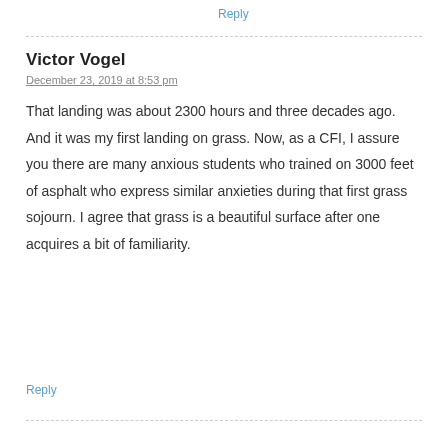Reply
Victor Vogel
December 23, 2019 at 8:53 pm
That landing was about 2300 hours and three decades ago. And it was my first landing on grass. Now, as a CFI, I assure you there are many anxious students who trained on 3000 feet of asphalt who express similar anxieties during that first grass sojourn. I agree that grass is a beautiful surface after one acquires a bit of familiarity.
Reply